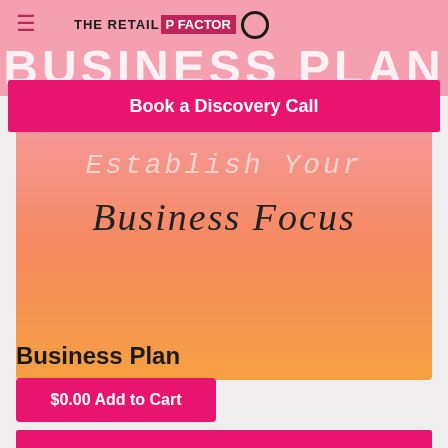THE RETAIL P FACTOR
BUSINESS PLAN
Book a Discovery Call
[Figure (illustration): Gradient background image (pink to orange) with handwritten-style text reading 'Establish Your Business Focus']
Business Plan
$0.00 Add to Cart